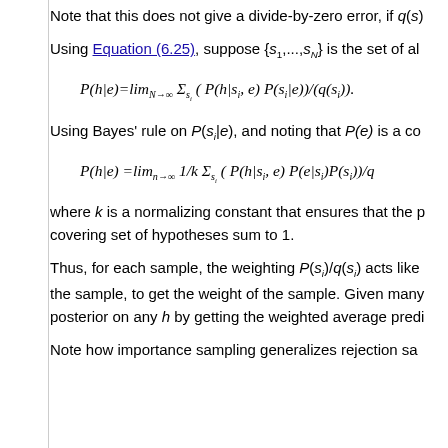Note that this does not give a divide-by-zero error, if q(s)...
Using Equation (6.25), suppose {s1,...,sN} is the set of al...
Using Bayes' rule on P(si|e), and noting that P(e) is a co...
where k is a normalizing constant that ensures that the p... covering set of hypotheses sum to 1.
Thus, for each sample, the weighting P(si)/q(si) acts like ... the sample, to get the weight of the sample. Given many ... posterior on any h by getting the weighted average predi...
Note how importance sampling generalizes rejection sa... includes all of the variables, including the observed vari...